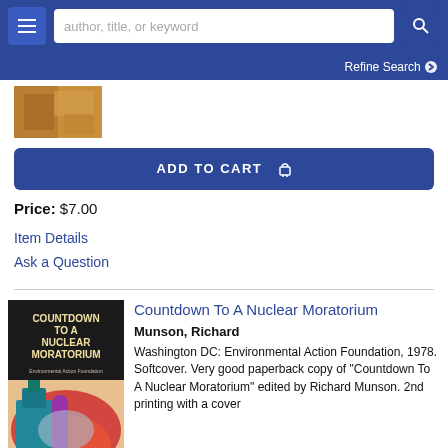author, title, or keyword
Refine Search
[Figure (photo): Partial book cover image, warm orange/brown tones]
ADD TO CART
Price: $7.00
Item Details
Ask a Question
[Figure (photo): Book cover for 'Countdown To A Nuclear Moratorium' showing industrial/nuclear imagery in teal, pink, red and black colors. Text reads: COUNTDOWN TO A NUCLEAR MORATORIUM, Environmental Action Foundation]
Countdown To A Nuclear Moratorium
Munson, Richard
Washington DC: Environmental Action Foundation, 1978. Softcover. Very good paperback copy of "Countdown To A Nuclear Moratorium" edited by Richard Munson. 2nd printing with a cover